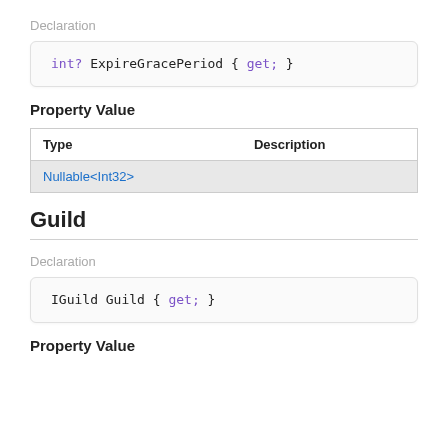Declaration
Property Value
| Type | Description |
| --- | --- |
| Nullable<Int32> |  |
Guild
Declaration
Property Value